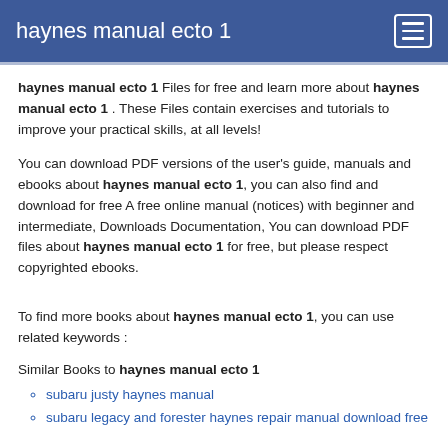haynes manual ecto 1
haynes manual ecto 1 Files for free and learn more about haynes manual ecto 1 . These Files contain exercises and tutorials to improve your practical skills, at all levels!
You can download PDF versions of the user’s guide, manuals and ebooks about haynes manual ecto 1, you can also find and download for free A free online manual (notices) with beginner and intermediate, Downloads Documentation, You can download PDF files about haynes manual ecto 1 for free, but please respect copyrighted ebooks.
To find more books about haynes manual ecto 1, you can use related keywords :
Similar Books to haynes manual ecto 1
subaru justy haynes manual
subaru legacy and forester haynes repair manual download free